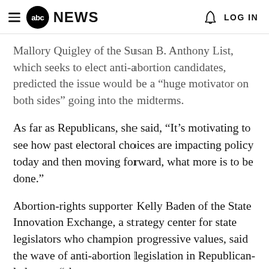ABC NEWS | LOG IN
Mallory Quigley of the Susan B. Anthony List, which seeks to elect anti-abortion candidates, predicted the issue would be a “huge motivator on both sides” going into the midterms.
As far as Republicans, she said, “It’s motivating to see how past electoral choices are impacting policy today and then moving forward, what more is to be done.”
Abortion-rights supporter Kelly Baden of the State Innovation Exchange, a strategy center for state legislators who champion progressive values, said the wave of anti-abortion legislation in Republican-led states “shows